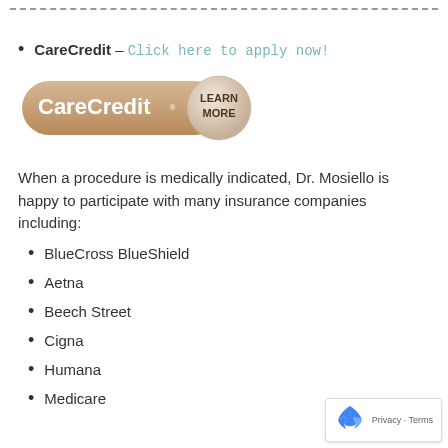CareCredit – Click here to apply now!
[Figure (logo): CareCredit Learn More button - rounded rectangle logo with tan/beige gradient background showing CareCredit text in white bold and a circular Learn More badge]
When a procedure is medically indicated, Dr. Mosiello is happy to participate with many insurance companies including:
BlueCross BlueShield
Aetna
Beech Street
Cigna
Humana
Medicare